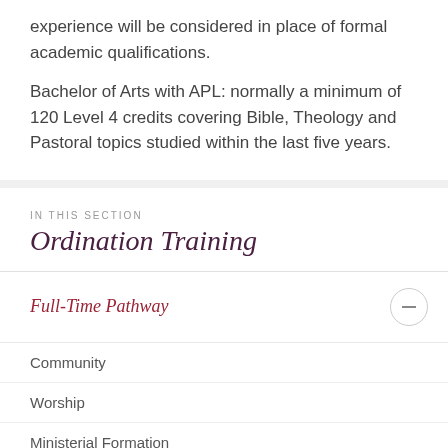experience will be considered in place of formal academic qualifications.
Bachelor of Arts with APL: normally a minimum of 120 Level 4 credits covering Bible, Theology and Pastoral topics studied within the last five years.
IN THIS SECTION
Ordination Training
Full-Time Pathway
Community
Worship
Ministerial Formation
Courses